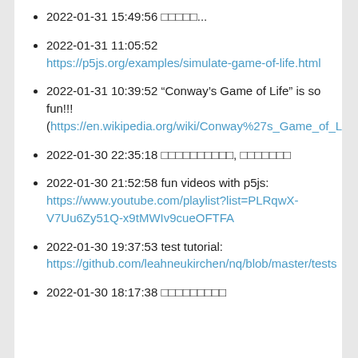2022-01-31 15:49:56 □□□□□...
2022-01-31 11:05:52 https://p5js.org/examples/simulate-game-of-life.html
2022-01-31 10:39:52 “Conway’s Game of Life” is so fun!!! (https://en.wikipedia.org/wiki/Conway%27s_Game_of_Life)
2022-01-30 22:35:18 □□□□□□□□□□, □□□□□□□
2022-01-30 21:52:58 fun videos with p5js: https://www.youtube.com/playlist?list=PLRqwX-V7Uu6Zy51Q-x9tMWIv9cueOFTFA
2022-01-30 19:37:53 test tutorial: https://github.com/leahneukirchen/nq/blob/master/tests
2022-01-30 18:17:38 □□□□□□□□□